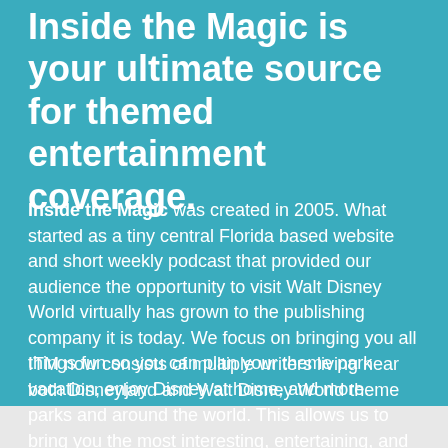Inside the Magic is your ultimate source for themed entertainment coverage.
Inside the Magic was created in 2005. What started as a tiny central Florida based website and short weekly podcast that provided our audience the opportunity to visit Walt Disney World virtually has grown to the publishing company it is today. We focus on bringing you all things fun so you can plan your theme park vacation, enjoy Disney at home, and more.
ITM now consists of multiple writers living near both Disneyland and Walt Disney World theme parks and around the world. This allows us to bring you the most interesting, entertaining, and unique entertainment experiences, covering theme parks, movies, TV, video games, special events and so much more.